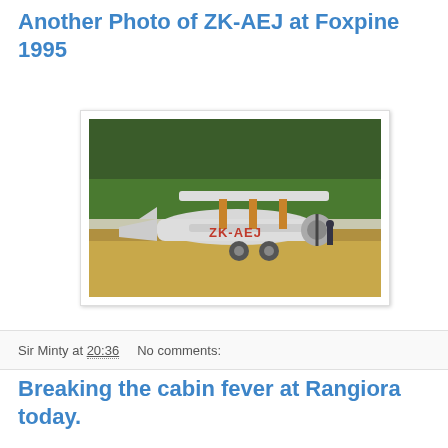Another Photo of ZK-AEJ at Foxpine 1995
[Figure (photo): Photograph of a biplane with registration ZK-AEJ parked on dry grass at Foxpine 1995, with trees in the background.]
Sir Minty at 20:36    No comments:
Breaking the cabin fever at Rangiora today.